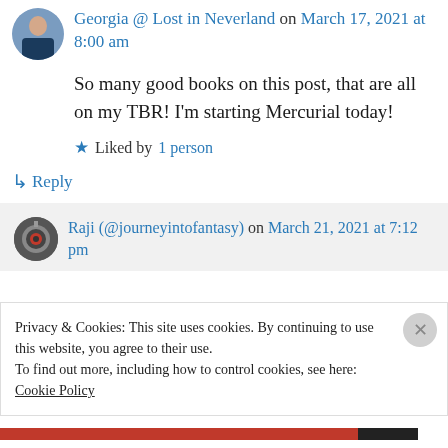Georgia @ Lost in Neverland on March 17, 2021 at 8:00 am
So many good books on this post, that are all on my TBR! I'm starting Mercurial today!
★ Liked by 1 person
↳ Reply
Raji (@journeyintofantasy) on March 21, 2021 at 7:12 pm
Privacy & Cookies: This site uses cookies. By continuing to use this website, you agree to their use.
To find out more, including how to control cookies, see here: Cookie Policy
Close and accept